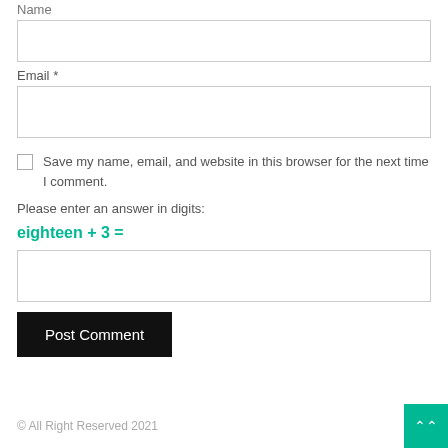Name
[Figure (other): Empty text input box for Name field]
Email *
[Figure (other): Empty text input box for Email field]
Save my name, email, and website in this browser for the next time I comment.
Please enter an answer in digits:
[Figure (other): Empty text input box for answer]
Post Comment
© All Right Reserved 2021